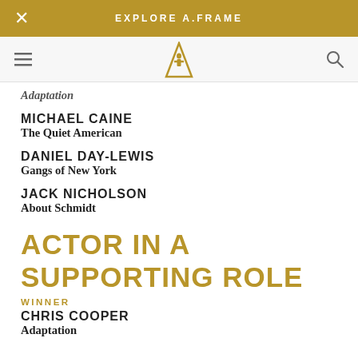EXPLORE A.FRAME
Adaptation
MICHAEL CAINE
The Quiet American
DANIEL DAY-LEWIS
Gangs of New York
JACK NICHOLSON
About Schmidt
ACTOR IN A SUPPORTING ROLE
WINNER
CHRIS COOPER
Adaptation